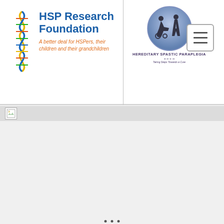[Figure (logo): HSP Research Foundation logo with DNA helix graphic and text 'HSP Research Foundation - A better deal for HSPers, their children and their grandchildren']
[Figure (logo): Hereditary Spastic Paraplegia logo circle with silhouettes of person in wheelchair and standing person, text 'Hereditary Spastic Paraplegia - Taking Steps Towards a Cure']
[Figure (screenshot): Hamburger menu button (three horizontal lines) in rounded rectangle border]
[Figure (photo): Broken image placeholder icon in gray navigation bar]
· · ·